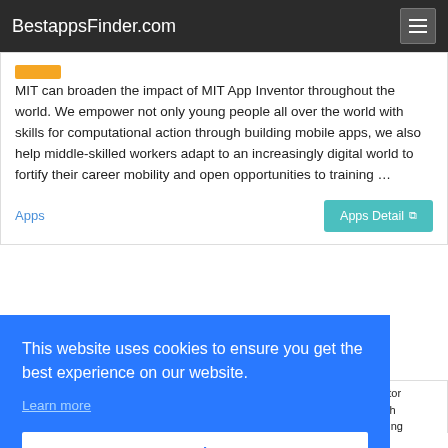BestappsFinder.com
MIT can broaden the impact of MIT App Inventor throughout the world. We empower not only young people all over the world with skills for computational action through building mobile apps, we also help middle-skilled workers adapt to an increasingly digital world to fortify their career mobility and open opportunities to training …
Apps
Apps Detail
This website uses cookies to ensure you get the best experience on our website.
Learn more
Got it!
entor with nding
on whether you are developing apps on an Android device or